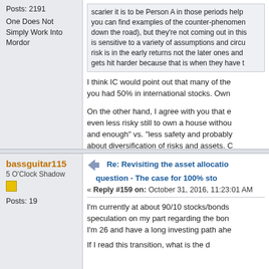Posts: 2191
One Does Not Simply Work Into Mordor
scarier it is to be Person A in those periods help you can find examples of the counter-phenomenon down the road), but they're not coming out in this is sensitive to a variety of assumptions and circu risk is in the early returns not the later ones and gets hit harder because that is when they have t
I think IC would point out that many of the you had 50% in international stocks. Own
On the other hand, I agree with you that e even less risky still to own a house withou and enough" vs. "less safety and probably about diversification of risks and assets. C house with a vegetable garden) is a very electronic assets can replace.
bassguitar115
5 O'Clock Shadow
Posts: 19
Re: Revisiting the asset allocation question - The case for 100% sto
« Reply #159 on: October 31, 2016, 11:23:01 AM
I'm currently at about 90/10 stocks/bonds speculation on my part regarding the bon I'm 26 and have a long investing path ahe
If I read this transition, what is the d